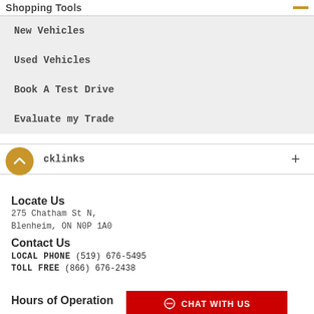Shopping Tools
New Vehicles
Used Vehicles
Book A Test Drive
Evaluate my Trade
cklinks
Locate Us
275 Chatham St N,
Blenheim, ON N0P 1A0
Contact Us
LOCAL PHONE (519) 676-5495
TOLL FREE (866) 676-2438
Hours of Operation